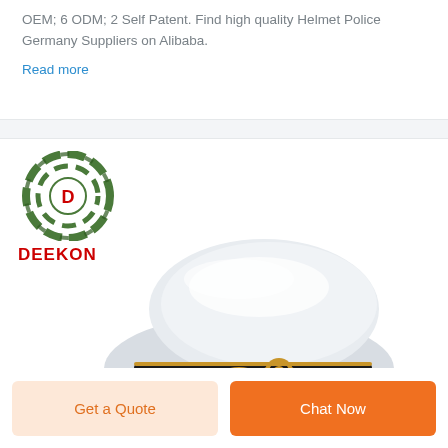OEM; 6 ODM; 2 Self Patent. Find high quality Helmet Police Germany Suppliers on Alibaba.
Read more
[Figure (logo): DEEKON company logo: circular camouflage-pattern emblem with red D letter in center, and bold red DEEKON text below]
[Figure (photo): White naval/military officer peaked cap with gold embroidery and black band, on white background]
Get a Quote
Chat Now